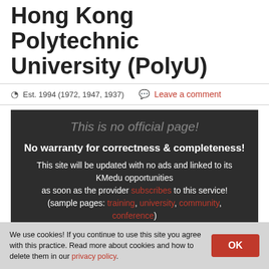Hong Kong Polytechnic University (PolyU)
Est. 1994 (1972, 1947, 1937)   Leave a comment
[Figure (infographic): Dark box with disclaimer: 'This is no official page!' followed by 'No warranty for correctness & completeness!' and text about the site being updated with KMedu opportunities once the provider subscribes, with links for training, university, community, conference.]
We use cookies! If you continue to use this site you agree with this practice. Read more about cookies and how to delete them in our privacy policy.